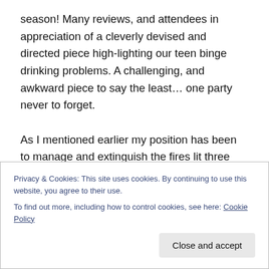season! Many reviews, and attendees in appreciation of a cleverly devised and directed piece high-lighting our teen binge drinking problems. A challenging, and awkward piece to say the least… one party never to forget.

As I mentioned earlier my position has been to manage and extinguish the fires lit three times a night by the cast. It has been fun, and I couldn't think of a better way to earn money really. Despite the long hours and spending my nights outside at the end of a short Winter, I just love the ability to contribute to such a project and to also be the fire
Privacy & Cookies: This site uses cookies. By continuing to use this website, you agree to their use.
To find out more, including how to control cookies, see here: Cookie Policy
Close and accept